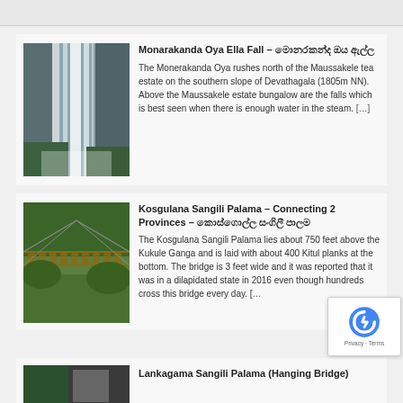[Figure (photo): Waterfall photo for Monarakanda Oya Ella Fall]
Monarakanda Oya Ella Fall – මොනරකන්ද ඔය ඇල්ල
The Monerakanda Oya rushes north of the Maussakele tea estate on the southern slope of Devathagala (1805m NN). Above the Maussakele estate bungalow are the falls which is best seen when there is enough water in the steam. […]
[Figure (photo): Hanging bridge photo for Kosgulana Sangili Palama]
Kosgulana Sangili Palama – Connecting 2 Provinces – කොස්ගොල්ල සංගිලී පාලම
The Kosgulana Sangili Palama lies about 750 feet above the Kukule Ganga and is laid with about 400 Kitul planks at the bottom. The bridge is 3 feet wide and it was reported that it was in a dilapidated state in 2016 even though hundreds cross this bridge every day. […]
[Figure (photo): Photo for Lankagama Sangili Palama (Hanging Bridge)]
Lankagama Sangili Palama (Hanging Bridge)